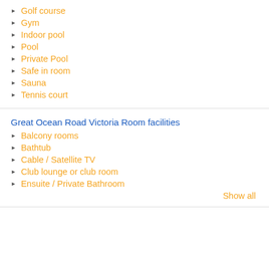Golf course
Gym
Indoor pool
Pool
Private Pool
Safe in room
Sauna
Tennis court
Great Ocean Road Victoria Room facilities
Balcony rooms
Bathtub
Cable / Satellite TV
Club lounge or club room
Ensuite / Private Bathroom
Show all